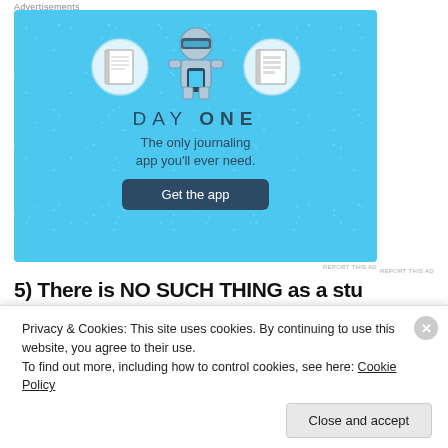Advertisements
[Figure (illustration): Day One journaling app advertisement on light blue background. Features icons of a notebook, a person looking at a phone wearing a helmet/glasses, and a checklist. Text reads 'DAY ONE - The only journaling app you'll ever need.' with a 'Get the app' button.]
REPORT THIS AD
5) There is NO SUCH THING as a stupid
Privacy & Cookies: This site uses cookies. By continuing to use this website, you agree to their use.
To find out more, including how to control cookies, see here: Cookie Policy
Close and accept